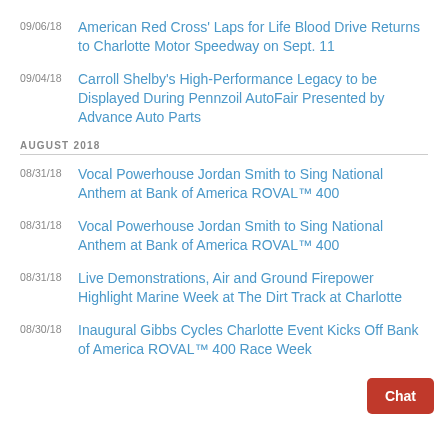09/06/18 American Red Cross' Laps for Life Blood Drive Returns to Charlotte Motor Speedway on Sept. 11
09/04/18 Carroll Shelby's High-Performance Legacy to be Displayed During Pennzoil AutoFair Presented by Advance Auto Parts
AUGUST 2018
08/31/18 Vocal Powerhouse Jordan Smith to Sing National Anthem at Bank of America ROVAL™ 400
08/31/18 Vocal Powerhouse Jordan Smith to Sing National Anthem at Bank of America ROVAL™ 400
08/31/18 Live Demonstrations, Air and Ground Firepower Highlight Marine Week at The Dirt Track at Charlotte
08/30/18 Inaugural Gibbs Cycles Charlotte Event Kicks Off Bank of America ROVAL™ 400 Race Week